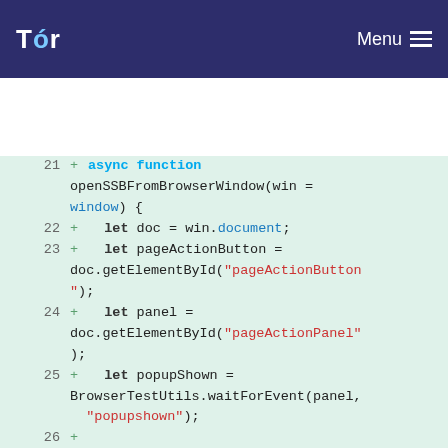Tor | Menu
[Figure (screenshot): Code diff screenshot showing JavaScript async function openSSBFromBrowserWindow with lines 21-30 highlighted in green as additions]
21  +  async function openSSBFromBrowserWindow(win = window) {
22  +    let doc = win.document;
23  +    let pageActionButton = doc.getElementById("pageActionButton");
24  +    let panel = doc.getElementById("pageActionPanel");
25  +    let popupShown = BrowserTestUtils.waitForEvent(panel, "popupshown");
26  +
27  +
       EventUtils.synthesizeMouseAtCenter(pageActionButton, {}, win);
28  +    await popupShown;
29  +
30  +    let openItem =